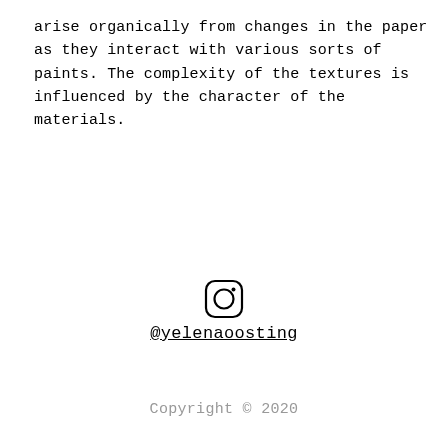arise organically from changes in the paper as they interact with various sorts of paints. The complexity of the textures is influenced by the character of the materials.
@yelenaoosting
Copyright © 2020